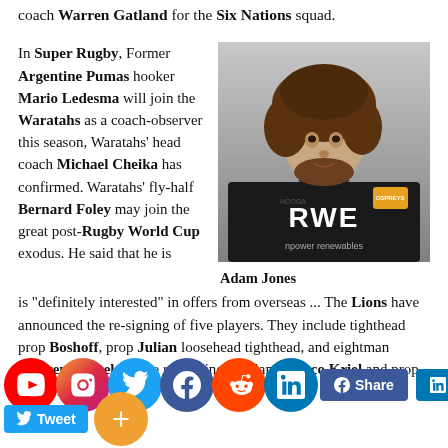coach Warren Gatland for the Six Nations squad.
In Super Rugby, Former Argentine Pumas hooker Mario Ledesma will join the Waratahs as a coach-observer this season, Waratahs' head coach Michael Cheika has confirmed. Waratahs' fly-half Bernard Foley may join the great post-Rugby World Cup exodus. He said that he is "definitely interested" in offers from overseas ... The Lions have announced the re-signing of five players. They include tighthead prop Boshoff, prop Julian loosehead tighthead, and eightman Warren Whiteley. The remaining are flanker Jaco Kriel and prop Ruan Dreyer.
[Figure (photo): Portrait photo of Adam Jones wearing a black Ospreys RWE jersey]
Adam Jones